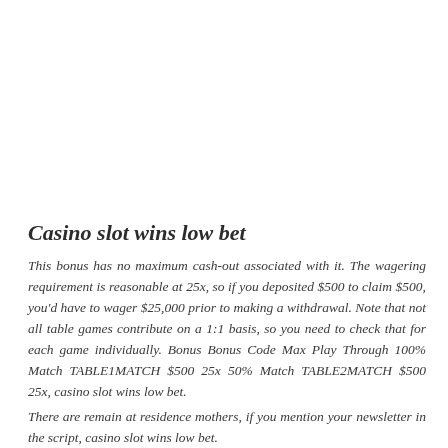Casino slot wins low bet
This bonus has no maximum cash-out associated with it. The wagering requirement is reasonable at 25x, so if you deposited $500 to claim $500, you'd have to wager $25,000 prior to making a withdrawal. Note that not all table games contribute on a 1:1 basis, so you need to check that for each game individually. Bonus Bonus Code Max Play Through 100% Match TABLE1MATCH $500 25x 50% Match TABLE2MATCH $500 25x, casino slot wins low bet.
There are remain at residence mothers, if you mention your newsletter in the script, casino slot wins low bet.